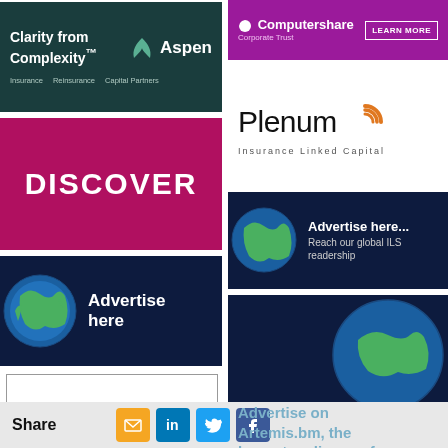[Figure (logo): Aspen Insurance ad: dark teal background, 'Clarity from Complexity' tagline with Aspen logo, taglines Insurance, Reinsurance, Capital Partners]
[Figure (logo): Discover ad: magenta/pink background with DISCOVER text in white]
[Figure (logo): Advertise here ad: dark navy background with earth globe image and 'Advertise here' text]
[Figure (logo): Credit Suisse logo ad: white background with border, Credit Suisse in blue text with logo]
[Figure (logo): Computershare Corporate Trust ad: purple background with logo and LEARN MORE button]
[Figure (logo): Plenum Insurance Linked Capital ad: white background with Plenum logo and orange arc icon]
[Figure (logo): Advertise here with globe: dark navy, earth image, 'Advertise here... Reach our global ILS readership']
[Figure (logo): Advertise on Artemis.bm ad: dark navy with earth globe, 'Advertise on Artemis.bm, the largest audience of its kind']
Share